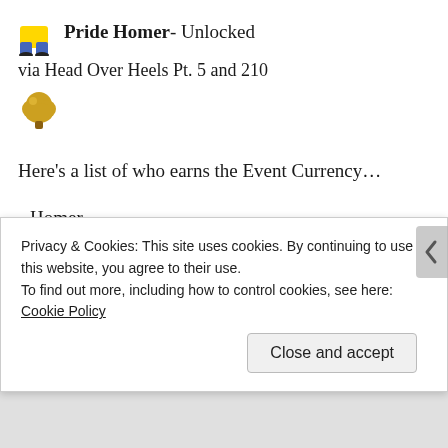Pride Homer- Unlocked
via Head Over Heels Pt. 5 and 210
[Figure (illustration): Small currency icon illustration (golden broccoli/cloud shape)]
Here’s a list of who earns the Event Currency…
Homer
Marge
Bart
Lisa
Lenny
Carl
Privacy & Cookies: This site uses cookies. By continuing to use this website, you agree to their use. To find out more, including how to control cookies, see here: Cookie Policy
Close and accept